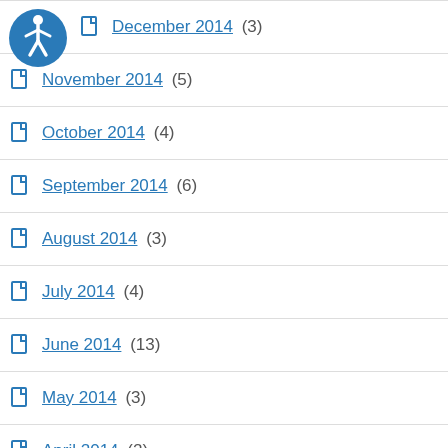[Figure (logo): Accessibility icon — blue circle with white person/stick figure outline]
December 2014 (3)
November 2014 (5)
October 2014 (4)
September 2014 (6)
August 2014 (3)
July 2014 (4)
June 2014 (13)
May 2014 (3)
April 2014 (2)
March 2014 (5)
January 2014 (3)
December 2013 (4)